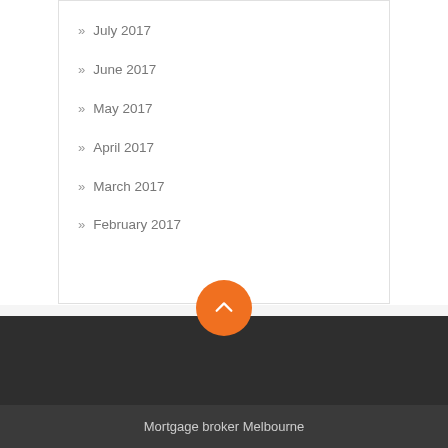July 2017
June 2017
May 2017
April 2017
March 2017
February 2017
Mortgage broker Melbourne